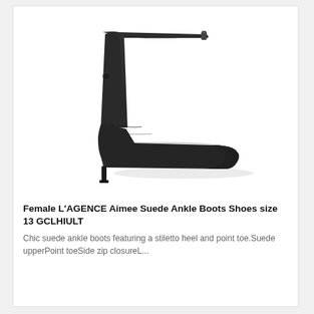[Figure (photo): A black suede ankle boot with a stiletto heel and pointed toe, shown in side profile on a white background.]
Female L'AGENCE Aimee Suede Ankle Boots Shoes size 13 GCLHIULT
Chic suede ankle boots featuring a stiletto heel and point toe.Suede upperPoint toeSide zip closureL...